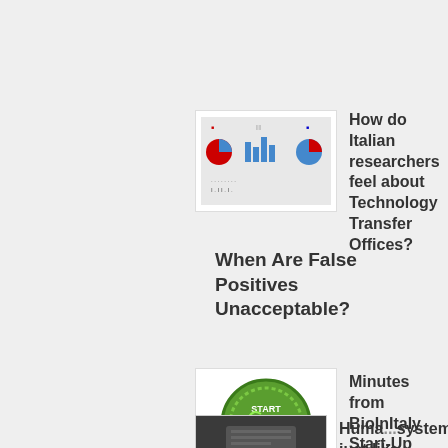[Figure (screenshot): Thumbnail showing charts/graphs related to Italian researchers survey]
How do Italian researchers feel about Technology Transfer Offices?
When Are False Positives Unacceptable?
[Figure (logo): BioInItaly Start-Up Initiative circular green logo]
Minutes from BioInItaly Start-Up Initiative 2014
[Figure (photo): Partially visible photo at the bottom left]
Huma... systems, just like